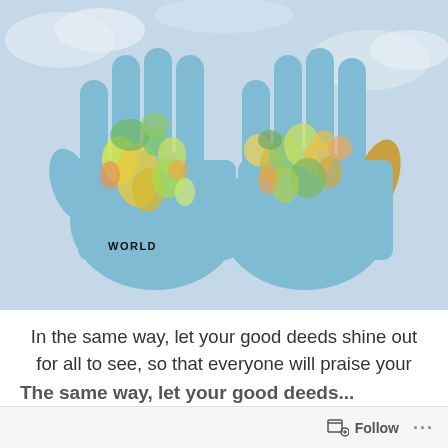[Figure (photo): Two hands held open with their palms up, painted with a colorful world map. The background shows a cloudy sky. The word WORLD is visible on the left palm.]
In the same way, let your good deeds shine out for all to see, so that everyone will praise your Heavenly Father. ~ Matthew 5:16 (NLT)
Follow ...